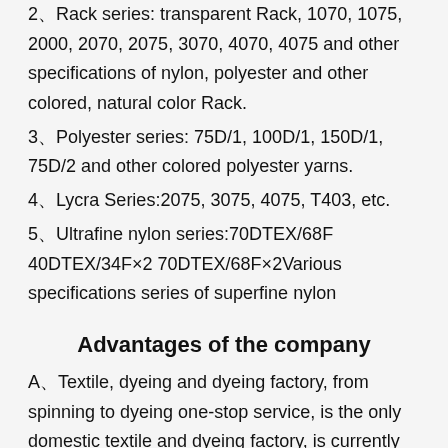2、Rack series: transparent Rack, 1070, 1075, 2000, 2070, 2075, 3070, 4070, 4075 and other specifications of nylon, polyester and other colored, natural color Rack.
3、Polyester series: 75D/1, 100D/1, 150D/1, 75D/2 and other colored polyester yarns.
4、Lycra Series:2075, 3075, 4075, T403, etc.
5、Ultrafine nylon series:70DTEX/68F  40DTEX/34F×2 70DTEX/68F×2Various specifications series of superfine nylon
Advantages of the company
A、Textile, dyeing and dyeing factory, from spinning to dyeing one-stop service, is the only domestic textile and dyeing factory, is currently the largest nylon yarn dyeing plant or nylon yarn. Moreover, the long-term stability of batch numb